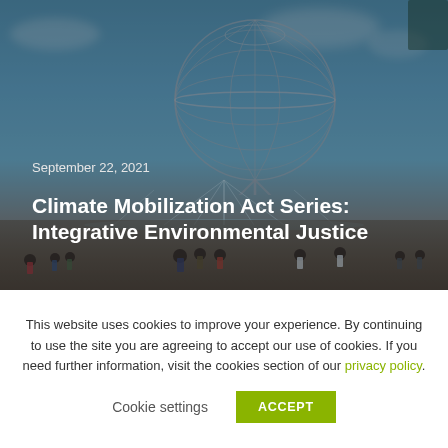[Figure (photo): Photograph of the Unisphere globe sculpture at Flushing Meadows-Corona Park with fountains and people in the foreground, overlaid with a dark tint. Text overlay reads 'September 22, 2021' and 'Climate Mobilization Act Series: Integrative Environmental Justice'.]
Climate Mobilization Act Series: Integrative Environmental Justice
This website uses cookies to improve your experience. By continuing to use the site you are agreeing to accept our use of cookies. If you need further information, visit the cookies section of our privacy policy.